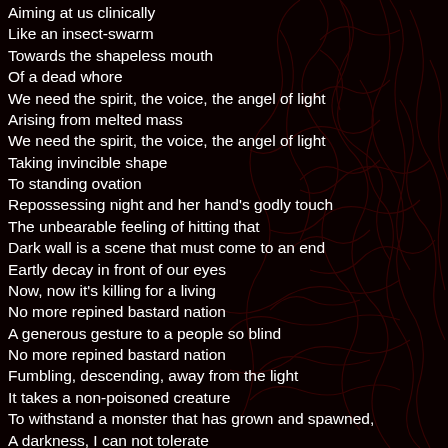Aiming at us clinically
Like an insect-swarm
Towards the shapeless mouth
Of a dead whore
We need the spirit, the voice, the angel of light
Arising from melted mass
We need the spirit, the voice, the angel of light
Taking invincible shape
To standing ovation
Repossessing night and her hand's godly touch

The unbearable feeling of hitting that
Dark wall is a scene that must come to an end

Eartly decay in front of our eyes
Now, now it's killing for a living

No more repined bastard nation
A generous gesture to a people so blind
No more repined bastard nation
Fumbling, descending, away from the light
It takes a non-poisoned creature
To withstand a monster that has grown and spawned,
A darkness, I can not tolerate
A darkness we must bury